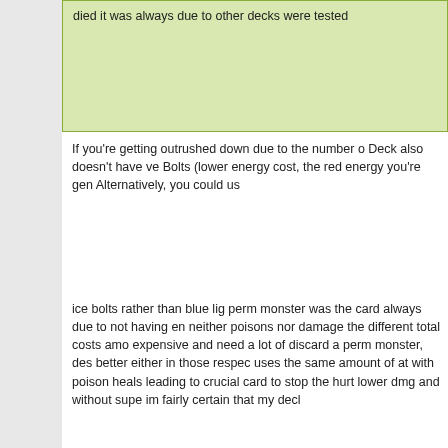died it was always due other decks were tested
If you're getting outrushed down due to the number of Deck also doesn't have ve Bolts (lower energy cost, the red energy you're gen Alternatively, you could us
ice bolts rather than blue lig perm monster was the card always due to not having en neither poisons nor damage the different total costs amo expensive and need a lot of discard a perm monster, des better either in those respec uses the same amount of at with poison heals leading to crucial card to stop the hurt lower dmg and without supe im fairly certain that my decl